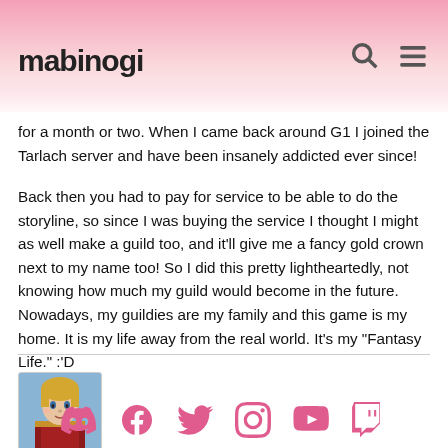mabinogi
for a month or two. When I came back around G1 I joined the Tarlach server and have been insanely addicted ever since!
Back then you had to pay for service to be able to do the storyline, so since I was buying the service I thought I might as well make a guild too, and it'll give me a fancy gold crown next to my name too! So I did this pretty lightheartedly, not knowing how much my guild would become in the future. Nowadays, my guildies are my family and this game is my home. It is my life away from the real world. It's my "Fantasy Life." :'D
[Figure (illustration): Small avatar portrait of a game character with blond hair and armor]
Social media icons: Discord, Facebook, Twitter, Instagram, YouTube, Twitch